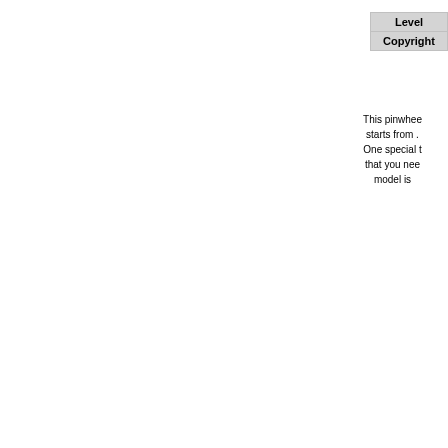| Level |
| Copyright |
This pinwheel starts from . One special t that you nee model is
C
| Co |
s